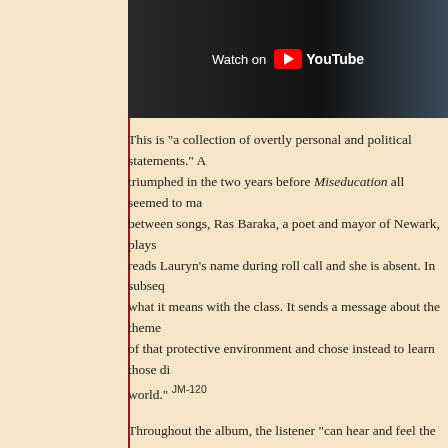[Figure (screenshot): YouTube video thumbnail with 'Watch on YouTube' text and YouTube logo, dark background with partial image visible]
This is "a collection of overtly personal and political statements." A triumphed in the two years before Miseducation all seemed to ma between songs, Ras Baraka, a poet and mayor of Newark, plays reads Lauryn's name during roll call and she is absent. In subseq what it means with the class. It sends a message about the theme of that protective environment and chose instead to learn those di world." JM-120
Throughout the album, the listener "can hear and feel the messag love, motherhood, and life." CS To Zion, which features Carlos Sa before her career. It was "a universally powerful moment of possib pregnancy under unconventional circumstances. For black wome JM-89